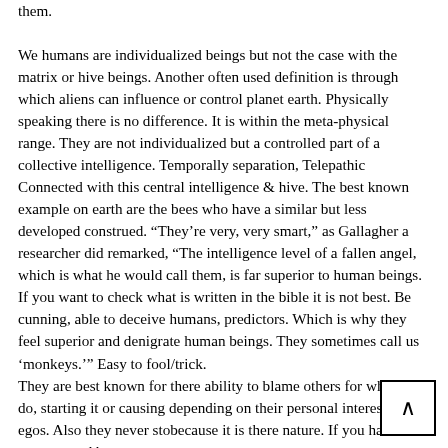them.

We humans are individualized beings but not the case with the matrix or hive beings. Another often used definition is through which aliens can influence or control planet earth. Physically speaking there is no difference. It is within the meta-physical range. They are not individualized but a controlled part of a collective intelligence. Temporally separation, Telepathic Connected with this central intelligence & hive. The best known example on earth are the bees who have a similar but less developed construed. “They’re very, very smart,” as Gallagher a researcher did remarked, “The intelligence level of a fallen angel, which is what he would call them, is far superior to human beings. If you want to check what is written in the bible it is not best. Be cunning, able to deceive humans, predictors. Which is why they feel superior and denigrate human beings. They sometimes call us ‘monkeys.’” Easy to fool/trick.
They are best known for there ability to blame others for what they do, starting it or causing depending on their personal interests and egos. Also they never sto because it is there nature. If you have have met one and be